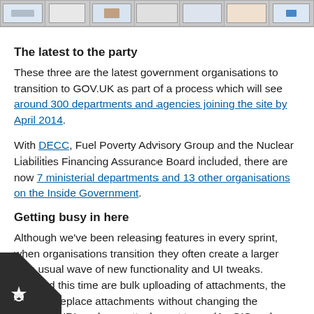[Figure (screenshot): Row of government website screenshot thumbnails shown at top of page]
The latest to the party
These three are the latest government organisations to transition to GOV.UK as part of a process which will see around 300 departments and agencies joining the site by April 2014.
With DECC, Fuel Poverty Advisory Group and the Nuclear Liabilities Financing Assurance Board included, there are now 7 ministerial departments and 13 other organisations on the Inside Government.
Getting busy in here
Although we've been releasing features in every sprint, when organisations transition they often create a larger than usual wave of new functionality and UI tweaks. Included this time are bulk uploading of attachments, the ability to replace attachments without changing the previous URL and new attachment types (ArcGIS and KML). These features particularly benefit DECC but will also be of use to current organisations on Inside Government. F...